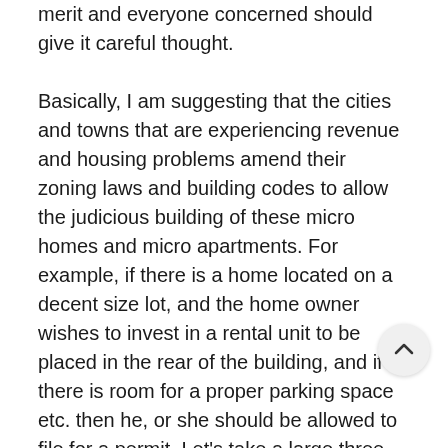merit and everyone concerned should give it careful thought.

Basically, I am suggesting that the cities and towns that are experiencing revenue and housing problems amend their zoning laws and building codes to allow the judicious building of these micro homes and micro apartments. For example, if there is a home located on a decent size lot, and the home owner wishes to invest in a rental unit to be placed in the rear of the building, and if there is room for a proper parking space etc. then he, or she should be allowed to file for a permit. Let's take a large three family dwelling that needs rehabbing for example. The investor who buys it should be able to either gut it, or tear it down, and turn the property into perhaps as many as twelve micro apartments. This part of my plan is